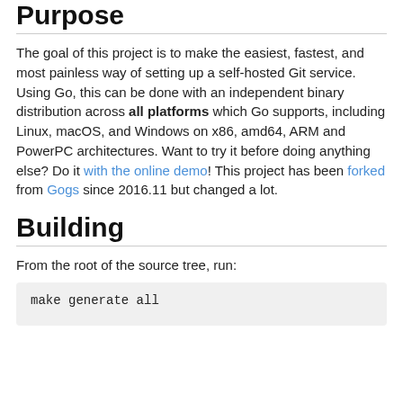Purpose
The goal of this project is to make the easiest, fastest, and most painless way of setting up a self-hosted Git service. Using Go, this can be done with an independent binary distribution across all platforms which Go supports, including Linux, macOS, and Windows on x86, amd64, ARM and PowerPC architectures. Want to try it before doing anything else? Do it with the online demo! This project has been forked from Gogs since 2016.11 but changed a lot.
Building
From the root of the source tree, run: